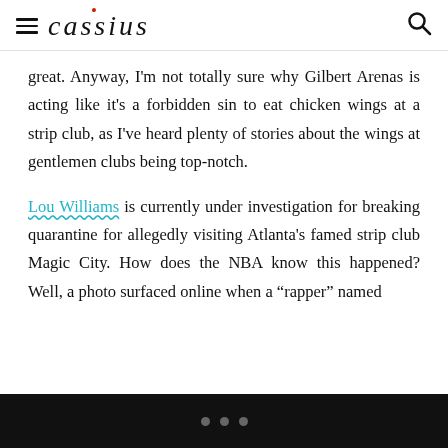cassius
great. Anyway, I'm not totally sure why Gilbert Arenas is acting like it's a forbidden sin to eat chicken wings at a strip club, as I've heard plenty of stories about the wings at gentlemen clubs being top-notch.
Lou Williams is currently under investigation for breaking quarantine for allegedly visiting Atlanta's famed strip club Magic City. How does the NBA know this happened? Well, a photo surfaced online when a "rapper" named [text cut off]